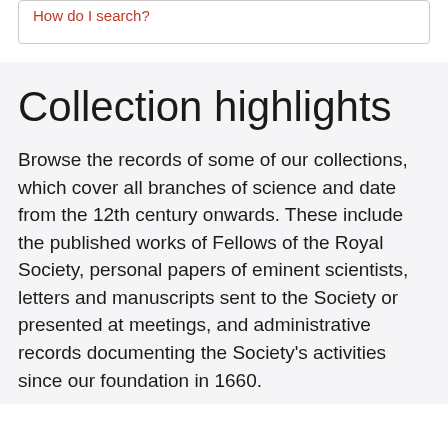How do I search?
Collection highlights
Browse the records of some of our collections, which cover all branches of science and date from the 12th century onwards. These include the published works of Fellows of the Royal Society, personal papers of eminent scientists, letters and manuscripts sent to the Society or presented at meetings, and administrative records documenting the Society's activities since our foundation in 1660.